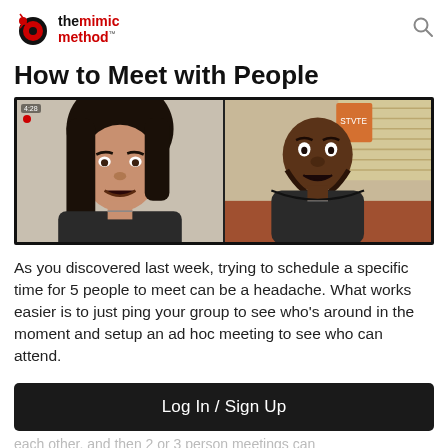the mimic method
How to Meet with People
[Figure (screenshot): A split-screen video call showing two people: on the left, a woman with long dark hair looking surprised or concerned; on the right, a man with a dark hoodie sitting in front of blinds and a couch, also looking surprised. The video has a black border and a red recording dot.]
As you discovered last week, trying to schedule a specific time for 5 people to meet can be a headache. What works easier is to just ping your group to see who's around in the moment and setup an ad hoc meeting to see who can attend.
Log In / Sign Up
each other, and then 2 or 3 person meetings can more easily be arranged